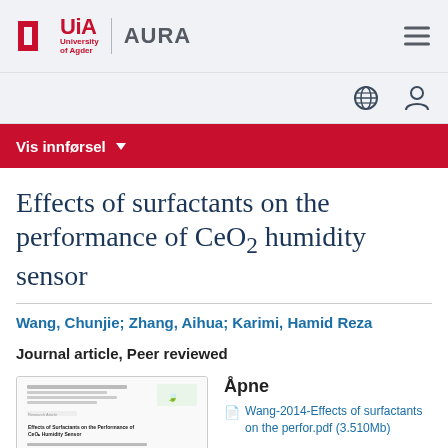[Figure (logo): UiA University of Agder AURA logo with hamburger menu icon]
[Figure (infographic): Icon bar with globe and user profile icons]
Vis innførsel ▾
Effects of surfactants on the performance of CeO2 humidity sensor
Wang, Chunjie; Zhang, Aihua; Karimi, Hamid Reza
Journal article, Peer reviewed
[Figure (screenshot): Thumbnail of the paper: Effects of Surfactants on the Performance of CeO2 Humidity Sensor]
Åpne
Wang-2014-Effects of surfactants on the perfor.pdf (3.510Mb)